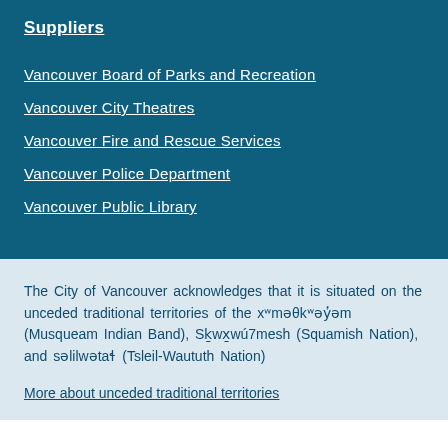Suppliers
Vancouver Board of Parks and Recreation
Vancouver City Theatres
Vancouver Fire and Rescue Services
Vancouver Police Department
Vancouver Public Library
The City of Vancouver acknowledges that it is situated on the unceded traditional territories of the xʷməθkʷəy̓əm (Musqueam Indian Band), Sḵwx̱wú7mesh (Squamish Nation), and səlilwətaɬ (Tsleil-Waututh Nation)
More about unceded traditional territories